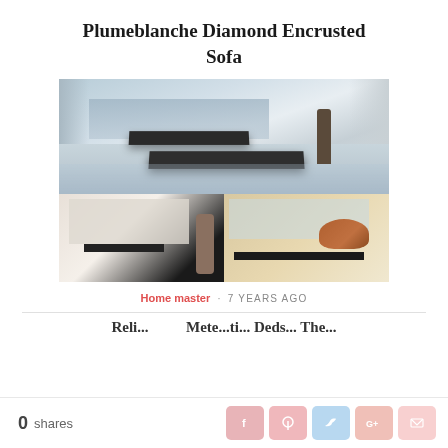Plumeblanche Diamond Encrusted Sofa
[Figure (photo): Composite of three photos showing the Plumeblanche Diamond Encrusted Sofa: main large image of a sleek dark sofa floating in a minimalist curved room with city view; bottom-left photo showing person interacting with sofa display; bottom-right photo showing sofa with decorative animal figure on top]
Home master · 7 YEARS AGO
Relip... Mete...ti... Deds... The...
0 shares